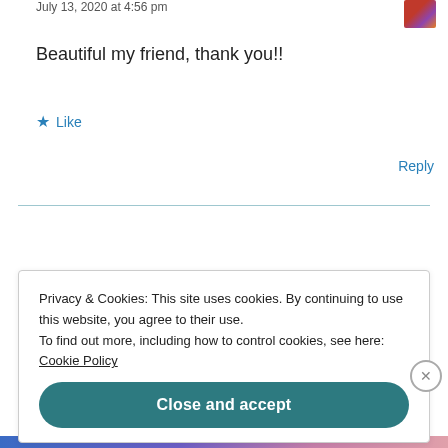July 13, 2020 at 4:56 pm
Beautiful my friend, thank you!!
★ Like
Reply
Privacy & Cookies: This site uses cookies. By continuing to use this website, you agree to their use. To find out more, including how to control cookies, see here: Cookie Policy
Close and accept